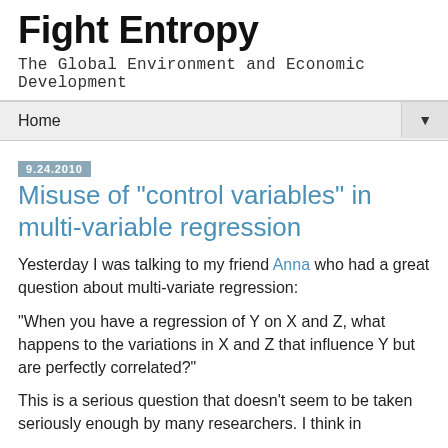Fight Entropy
The Global Environment and Economic Development
Home ▼
9.24.2010
Misuse of "control variables" in multi-variable regression
Yesterday I was talking to my friend Anna who had a great question about multi-variate regression:
"When you have a regression of Y on X and Z, what happens to the variations in X and Z that influence Y but are perfectly correlated?"
This is a serious question that doesn't seem to be taken seriously enough by many researchers. I think in